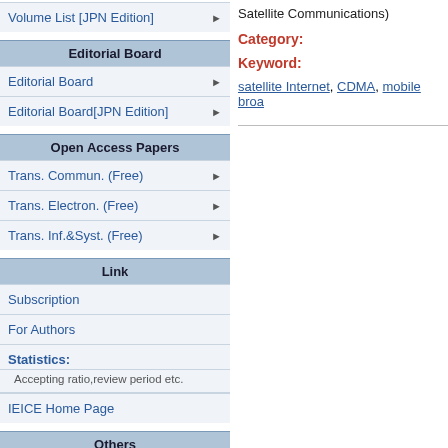Volume List [JPN Edition]
Editorial Board
Editorial Board
Editorial Board[JPN Edition]
Open Access Papers
Trans. Commun. (Free)
Trans. Electron. (Free)
Trans. Inf.&Syst. (Free)
Link
Subscription
For Authors
Statistics:
Accepting ratio,review period etc.
IEICE Home Page
Others
Citation Index
Satellite Communications)
Category:
Keyword:
satellite Internet, CDMA, mobile broa...